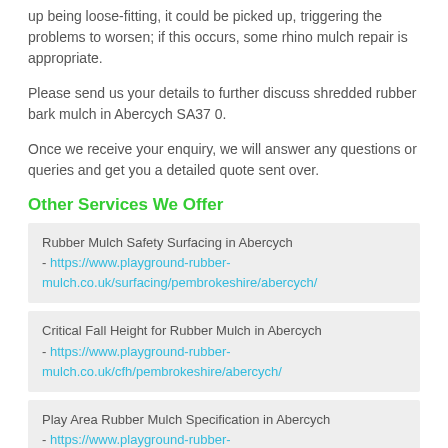up being loose-fitting, it could be picked up, triggering the problems to worsen; if this occurs, some rhino mulch repair is appropriate.
Please send us your details to further discuss shredded rubber bark mulch in Abercych SA37 0.
Once we receive your enquiry, we will answer any questions or queries and get you a detailed quote sent over.
Other Services We Offer
Rubber Mulch Safety Surfacing in Abercych - https://www.playground-rubber-mulch.co.uk/surfacing/pembrokeshire/abercych/
Critical Fall Height for Rubber Mulch in Abercych - https://www.playground-rubber-mulch.co.uk/cfh/pembrokeshire/abercych/
Play Area Rubber Mulch Specification in Abercych - https://www.playground-rubber-